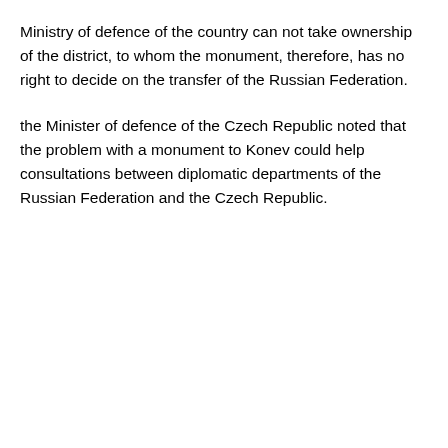Ministry of defence of the country can not take ownership of the district, to whom the monument, therefore, has no right to decide on the transfer of the Russian Federation.
the Minister of defence of the Czech Republic noted that the problem with a monument to Konev could help consultations between diplomatic departments of the Russian Federation and the Czech Republic.